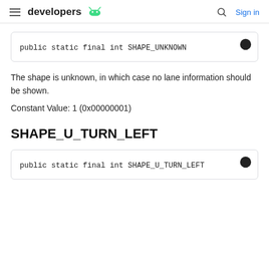developers [android logo] | Sign in
The shape is unknown, in which case no lane information should be shown.
Constant Value: 1 (0x00000001)
SHAPE_U_TURN_LEFT